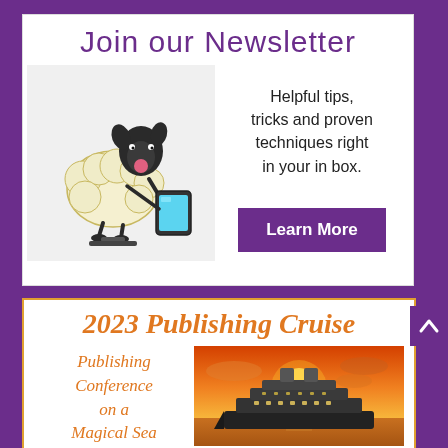Join our Newsletter
[Figure (illustration): Cartoon sheep standing upright holding a tablet/iPad device, with a pink nose. The sheep has a black head and fluffy white/cream body, standing on a small platform.]
Helpful tips, tricks and proven techniques right in your in box.
Learn More
2023 Publishing Cruise
Publishing Conference on a Magical Sea
[Figure (photo): A cruise ship at sunset with warm orange and golden sky tones.]